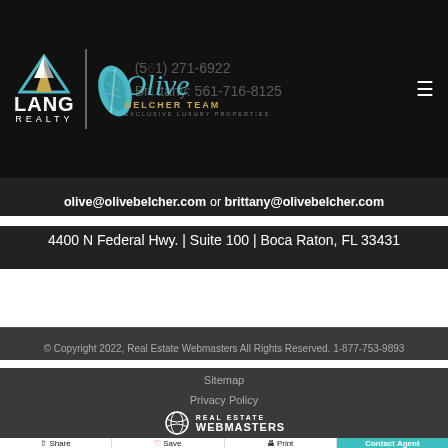[Figure (logo): Lang Realty logo and Olive Belcher Team logo on dark header bar with phone numbers overlay]
olive@olivebelcher.com or brittany@olivebelcher.com
4400 N Federal Hwy. | Suite 100 | Boca Raton, FL 33431
© Copyright 2022, Real Estate Webmasters All Rights Reserved. 1-877-753-9893
Sitemap
Privacy Policy
[Figure (logo): Real Estate Webmasters logo]
Share  Save  Print  Contact Agent